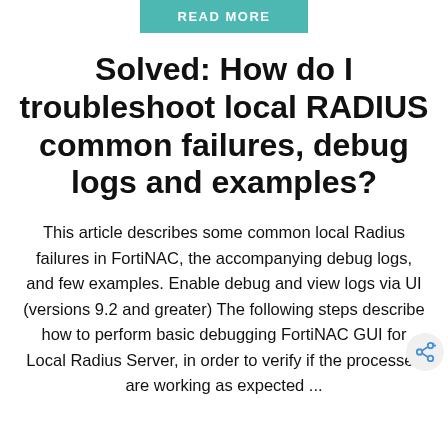READ MORE
Solved: How do I troubleshoot local RADIUS common failures, debug logs and examples?
This article describes some common local Radius failures in FortiNAC, the accompanying debug logs, and few examples. Enable debug and view logs via UI (versions 9.2 and greater) The following steps describe how to perform basic debugging FortiNAC GUI for Local Radius Server, in order to verify if the processes are working as expected ...